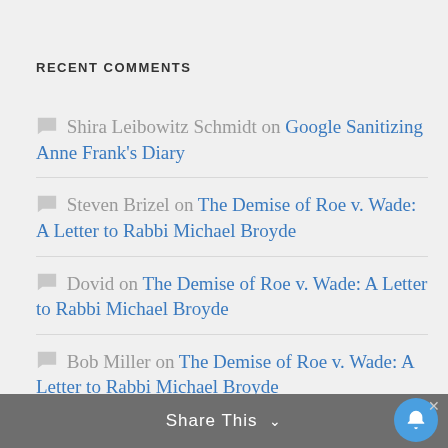RECENT COMMENTS
Shira Leibowitz Schmidt on Google Sanitizing Anne Frank's Diary
Steven Brizel on The Demise of Roe v. Wade: A Letter to Rabbi Michael Broyde
Dovid on The Demise of Roe v. Wade: A Letter to Rabbi Michael Broyde
Bob Miller on The Demise of Roe v. Wade: A Letter to Rabbi Michael Broyde
Dovid on The Demise of Roe v. Wade: A Letter to Rabbi Michael Broyde
Steven Brizel on Cheerleading Rarely Helps
Share This